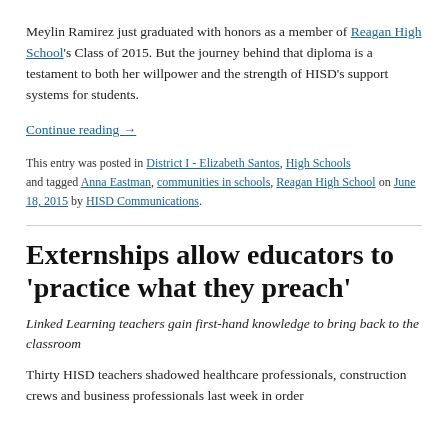Meylin Ramirez just graduated with honors as a member of Reagan High School's Class of 2015. But the journey behind that diploma is a testament to both her willpower and the strength of HISD's support systems for students.
Continue reading →
This entry was posted in District I - Elizabeth Santos, High Schools and tagged Anna Eastman, communities in schools, Reagan High School on June 18, 2015 by HISD Communications.
Externships allow educators to 'practice what they preach'
Linked Learning teachers gain first-hand knowledge to bring back to the classroom
Thirty HISD teachers shadowed healthcare professionals, construction crews and business professionals last week in order